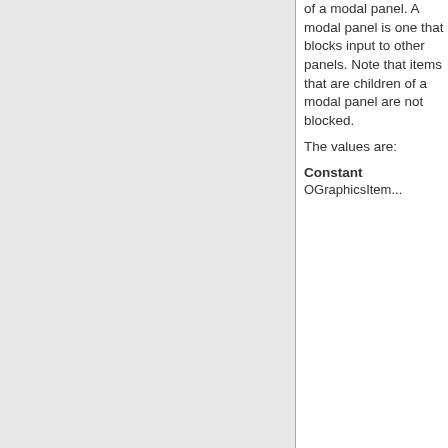of a modal panel. A modal panel is one that blocks input to other panels. Note that items that are children of a modal panel are not blocked.
The values are:
| Constant |
| --- |
| OGraphicsItem... |